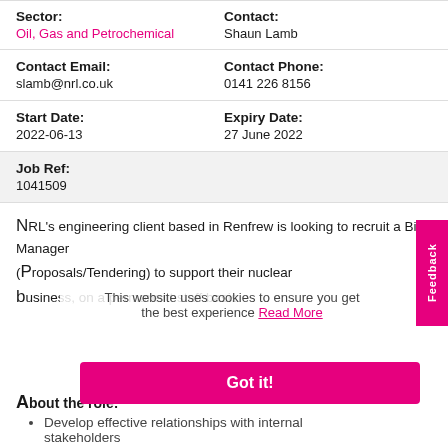| Sector: | Contact: |
| Oil, Gas and Petrochemical | Shaun Lamb |
| Contact Email: | Contact Phone: |
| slamb@nrl.co.uk | 0141 226 8156 |
| Start Date: | Expiry Date: |
| 2022-06-13 | 27 June 2022 |
| Job Ref: |  |
| 1041509 |  |
NRL's engineering client based in Renfrew is looking to recruit a Bid Manager (Proposals/Tendering) to support their nuclear business, on a permanent staff basis.
This website uses cookies to ensure you get the best experience Read More
Got it!
About the role:
Develop effective relationships with internal stakeholders